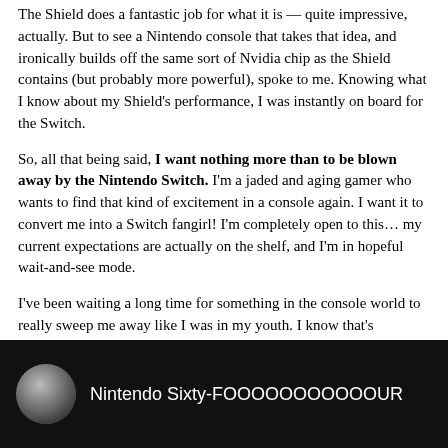The Shield does a fantastic job for what it is — quite impressive, actually. But to see a Nintendo console that takes that idea, and ironically builds off the same sort of Nvidia chip as the Shield contains (but probably more powerful), spoke to me. Knowing what I know about my Shield's performance, I was instantly on board for the Switch.
So, all that being said, I want nothing more than to be blown away by the Nintendo Switch. I'm a jaded and aging gamer who wants to find that kind of excitement in a console again. I want it to convert me into a Switch fangirl! I'm completely open to this… my current expectations are actually on the shelf, and I'm in hopeful wait-and-see mode.
I've been waiting a long time for something in the console world to really sweep me away like I was in my youth. I know that's probably a hard thing to ask for, since we always have over-inflated memories of what we loved in the past. But hey, I can hope, right?
[Figure (screenshot): Dark video thumbnail with circular profile image on left and text 'Nintendo Sixty-FOOOOOOOOOOOUR' in white on black background]